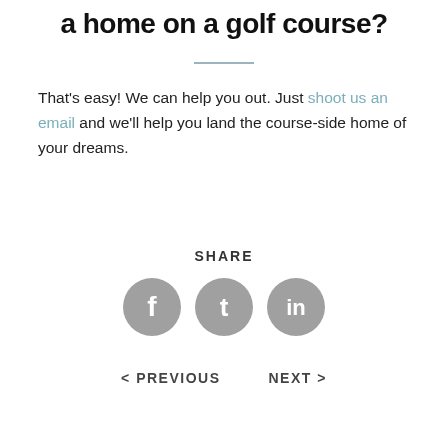a home on a golf course?
That's easy! We can help you out. Just shoot us an email and we'll help you land the course-side home of your dreams.
SHARE
[Figure (infographic): Three circular social media share buttons: Facebook (f), Twitter (t), LinkedIn (in), all grey colored]
< PREVIOUS   NEXT >